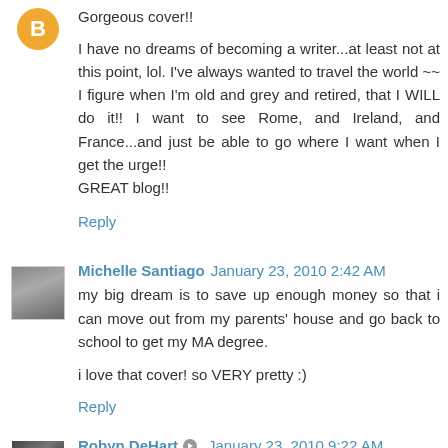Gorgeous cover!!
I have no dreams of becoming a writer...at least not at this point, lol. I've always wanted to travel the world ~~ I figure when I'm old and grey and retired, that I WILL do it!! I want to see Rome, and Ireland, and France...and just be able to go where I want when I get the urge!! GREAT blog!!
Reply
Michelle Santiago  January 23, 2010 2:42 AM
my big dream is to save up enough money so that i can move out from my parents' house and go back to school to get my MA degree.
i love that cover! so VERY pretty :)
Reply
Robyn DeHart  January 23, 2010 9:22 AM